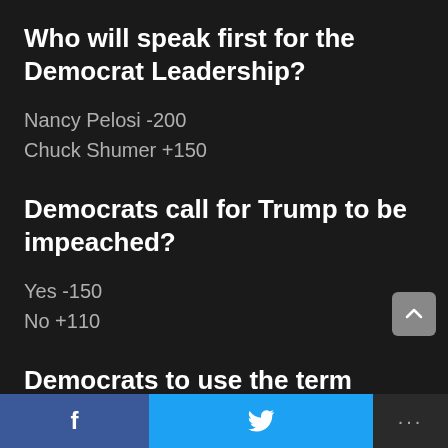Who will speak first for the Democrat Leadership?
Nancy Pelosi -200
Chuck Shumer +150
Democrats call for Trump to be impeached?
Yes -150
No +110
Democrats to use the term “Fake News”?